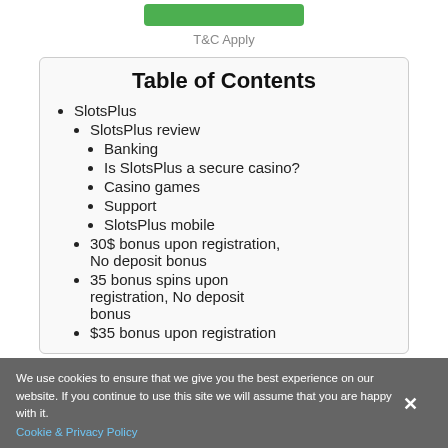[Figure (other): Green button at top center]
T&C Apply
Table of Contents
SlotsPlus
SlotsPlus review
Banking
Is SlotsPlus a secure casino?
Casino games
Support
SlotsPlus mobile
30$ bonus upon registration, No deposit bonus
35 bonus spins upon registration, No deposit bonus
$35 bonus upon registration
We use cookies to ensure that we give you the best experience on our website. If you continue to use this site we will assume that you are happy with it.
Cookie & Privacy Policy